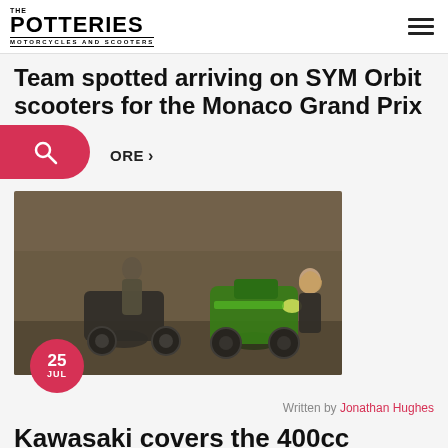THE POTTERIES MOTORCYCLES AND SCOOTERS
Team spotted arriving on SYM Orbit scooters for the Monaco Grand Prix
MORE >
[Figure (photo): Two people posing with Kawasaki motorcycles outdoors - a man on a dark bike on the left and a woman standing next to a green sports bike on the right]
25 JUL
Written by Jonathan Hughes
Kawasaki covers the 400cc